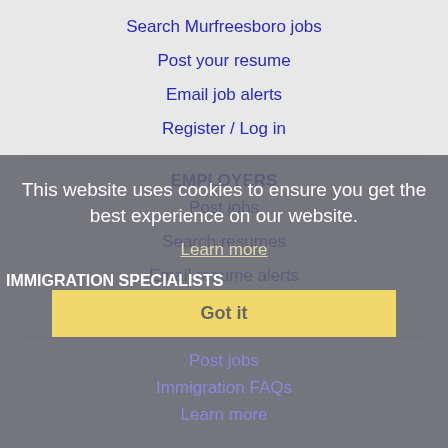Search Murfreesboro jobs
Post your resume
Email job alerts
Register / Log in
EMPLOYERS
Post jobs
Search resumes
Email resume alerts
Post jobs (overlaid)
This website uses cookies to ensure you get the best experience on our website.
Learn more
IMMIGRATION SPECIALISTS
Got it
Post jobs
Immigration FAQs
Learn more